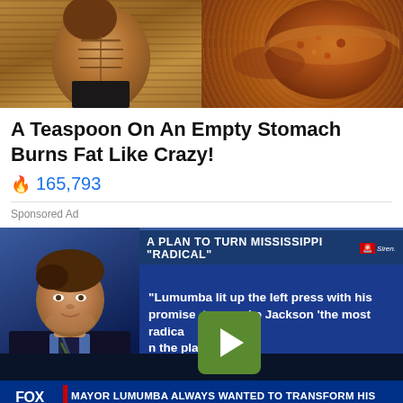[Figure (photo): Two-panel ad image: left side shows muscular torso/abs, right side shows a spoonful of brown spice/powder]
A Teaspoon On An Empty Stomach Burns Fat Like Crazy!
🔥 165,793
Sponsored Ad
[Figure (screenshot): Fox News video screenshot showing Tucker Carlson on left and a blue screen with text: A PLAN TO TURN MISSISSIPPI 'RADICAL' and quote 'Lumumba lit up the left press with his promise to make Jackson the most radical city on the planet.' with a green play button overlay. Lower bar shows: FOX NEWS | MAYOR LUMUMBA ALWAYS WANTED TO TRANSFORM HIS CITY | TUCKER CARLSON TONIGHT]